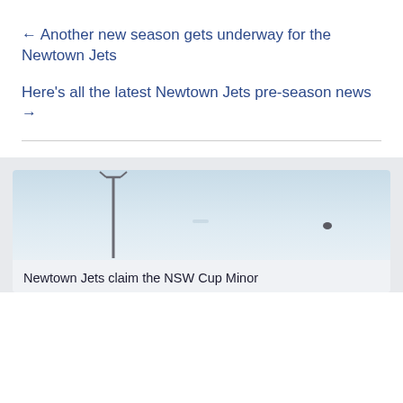← Another new season gets underway for the Newtown Jets
Here's all the latest Newtown Jets pre-season news →
[Figure (photo): Photograph of a rugby league goalpost against a pale blue sky, partially cropped. Card for a Newtown Jets article.]
Newtown Jets claim the NSW Cup Minor